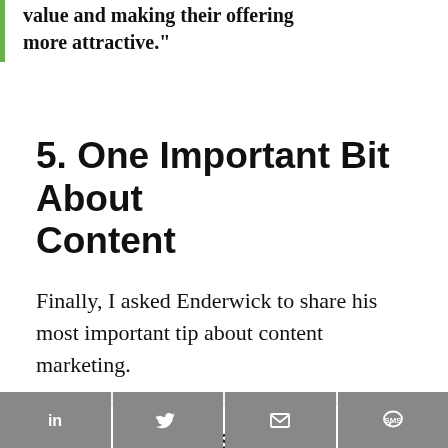value and making their offering more attractive."
5. One Important Bit About Content
Finally, I asked Enderwick to share his most important tip about content marketing.
[Figure (other): Advertisement box with label 'ADVERTISEMENT', a teal X close button, and the text 'Interested in']
[Figure (infographic): Share bar at bottom with four buttons: LinkedIn (in), Twitter (bird), Email (envelope), SMS (speech bubble)]